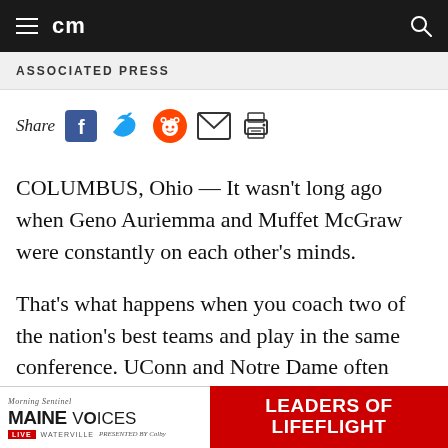cm
ASSOCIATED PRESS
Share
COLUMBUS, Ohio — It wasn't long ago when Geno Auriemma and Muffet McGraw were constantly on each other's minds.
That's what happens when you coach two of the nation's best teams and play in the same conference. UConn and Notre Dame often played four times a season, heightening the intensity of one of the best rivalries in
[Figure (infographic): Advertisement banner: Morning Sentinel Maine Voices Live Waterville presented by Colby — Leaders of Lifeflight]